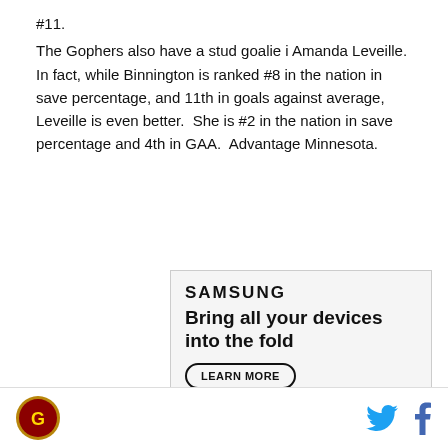#11.
The Gophers also have a stud goalie i Amanda Leveille.  In fact, while Binnington is ranked #8 in the nation in save percentage, and 11th in goals against average, Leveille is even better.  She is #2 in the nation in save percentage and 4th in GAA.  Advantage Minnesota.
[Figure (other): Samsung advertisement showing 'Bring all your devices into the fold' with a LEARN MORE button and image of devices and people on a video call]
Site logo icon | Twitter bird icon | Facebook f icon